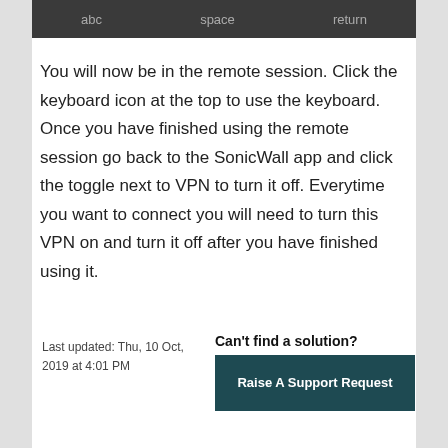[Figure (screenshot): Dark keyboard bar showing keys: abc, space, return]
You will now be in the remote session. Click the keyboard icon at the top to use the keyboard. Once you have finished using the remote session go back to the SonicWall app and click the toggle next to VPN to turn it off. Everytime you want to connect you will need to turn this VPN on and turn it off after you have finished using it.
Last updated: Thu, 10 Oct, 2019 at 4:01 PM
Can't find a solution?
Raise A Support Request